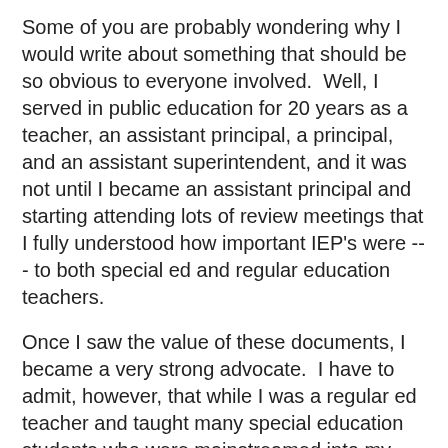Some of you are probably wondering why I would write about something that should be so obvious to everyone involved.  Well, I served in public education for 20 years as a teacher, an assistant principal, a principal, and an assistant superintendent, and it was not until I became an assistant principal and starting attending lots of review meetings that I fully understood how important IEP's were --- to both special ed and regular education teachers.
Once I saw the value of these documents, I became a very strong advocate.  I have to admit, however, that while I was a regular ed teacher and taught many special education students who were mainstreamed into my classes, I rarely glanced at an IEP.  I must have gotten them in my mailbox and promptly put them in a filing cabinet where they stayed, unused, for the remainder of the school year.  At that time, I didn't know what an IEP was or how it